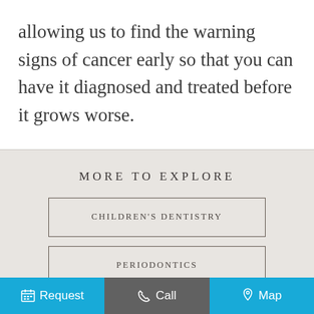allowing us to find the warning signs of cancer early so that you can have it diagnosed and treated before it grows worse.
MORE TO EXPLORE
CHILDREN'S DENTISTRY
PERIODONTICS
RESTORATIVE DENTISTRY
Request   Call   Map